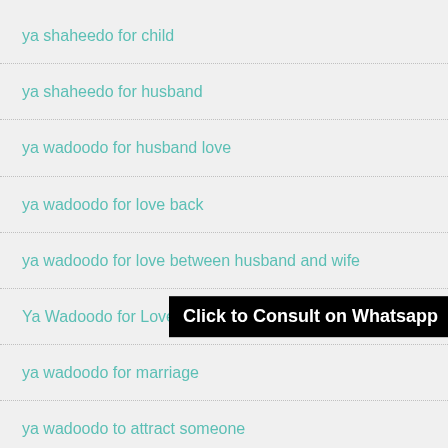ya shaheedo for child
ya shaheedo for husband
ya wadoodo for husband love
ya wadoodo for love back
ya wadoodo for love between husband and wife
Ya Wadoodo for Love Marriage and Husband Wife
ya wadoodo for marriage
ya wadoodo to attract someone
ya wadoodo wazifa
ya wadoodo wazifa for love